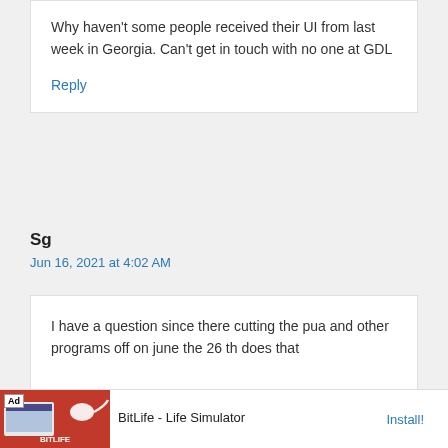Why haven't some people received their UI from last week in Georgia. Can't get in touch with no one at GDL
Reply
Sg
Jun 16, 2021 at 4:02 AM
I have a question since there cutting the pua and other programs off on june the 26 th does that
[Figure (other): Advertisement banner for BitLife - Life Simulator app with red background and Install button]